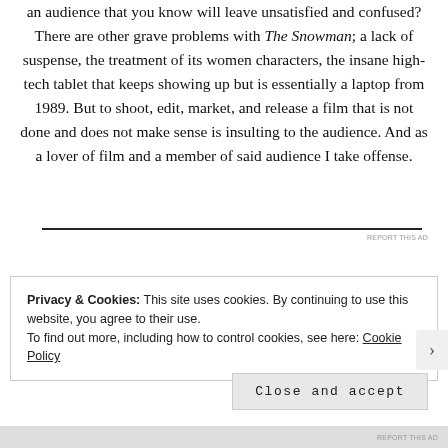an audience that you know will leave unsatisfied and confused? There are other grave problems with The Snowman; a lack of suspense, the treatment of its women characters, the insane high-tech tablet that keeps showing up but is essentially a laptop from 1989. But to shoot, edit, market, and release a film that is not done and does not make sense is insulting to the audience. And as a lover of film and a member of said audience I take offense.
Privacy & Cookies: This site uses cookies. By continuing to use this website, you agree to their use.
To find out more, including how to control cookies, see here: Cookie Policy
Close and accept